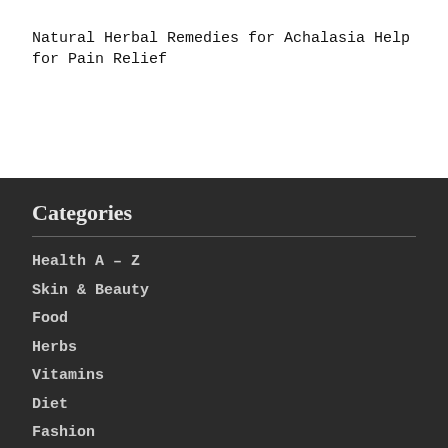Natural Herbal Remedies for Achalasia Help for Pain Relief
Categories
Health A – Z
Skin & Beauty
Food
Herbs
Vitamins
Diet
Fashion